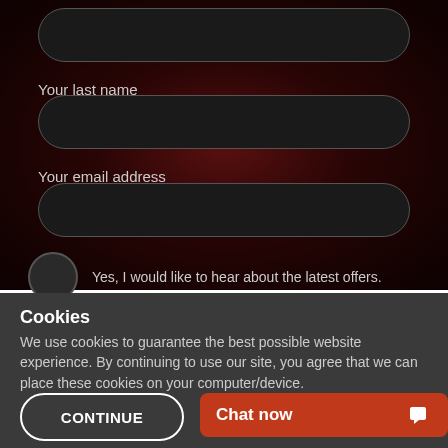[Figure (screenshot): Web form input field (rounded rectangle, dark background) at top of page]
Your last name
[Figure (screenshot): Web form input field for last name (rounded rectangle, dark background)]
Your email address
[Figure (screenshot): Web form input field for email address (rounded rectangle, dark background)]
Yes, I would like to hear about the latest offers.
[Figure (screenshot): Orange SUBMIT button with rounded corners]
Cookies
We use cookies to guarantee the best possible website experience. By continuing to use our site, you agree that we can place these cookies on your computer/device.
CONTINUE
Chat now